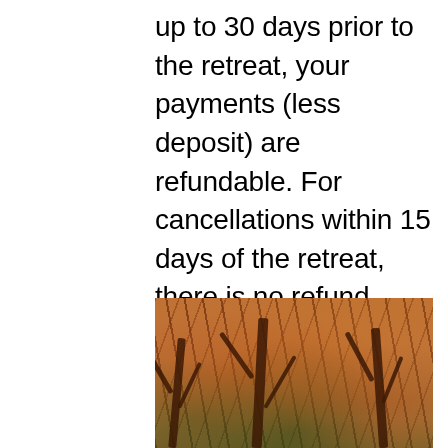up to 30 days prior to the retreat, your payments (less deposit) are refundable. For cancellations within 15 days of the retreat, there is no refund.
[Figure (photo): Autumn trees with spreading branches and orange-red foliage over a green landscape]